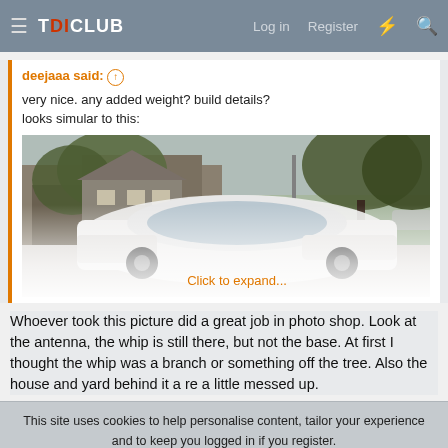TDICLUB — Log in  Register
deejaaa said: ↑
very nice. any added weight? build details?
looks simular to this:
[Figure (photo): A white pickup truck photographed on a suburban street with houses and trees in the background. The image fades out at the bottom with a 'Click to expand...' overlay.]
Click to expand...
Whoever took this picture did a great job in photo shop. Look at the antenna, the whip is still there, but not the base. At first I thought the whip was a branch or something off the tree. Also the house and yard behind it a re a little messed up.
This site uses cookies to help personalise content, tailor your experience and to keep you logged in if you register.
By continuing to use this site, you are consenting to our use of cookies.